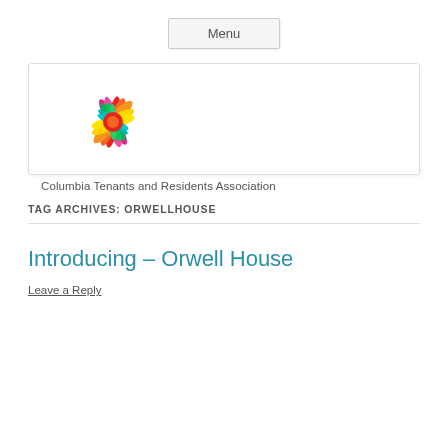Menu
[Figure (logo): Columbia Tenants and Residents Association logo — colorful starburst/flower with petals in pink, magenta, red, orange, yellow, green, and teal, with text 'Columbia Tenants and Residents Association']
TAG ARCHIVES: ORWELLHOUSE
Introducing – Orwell House
Leave a Reply